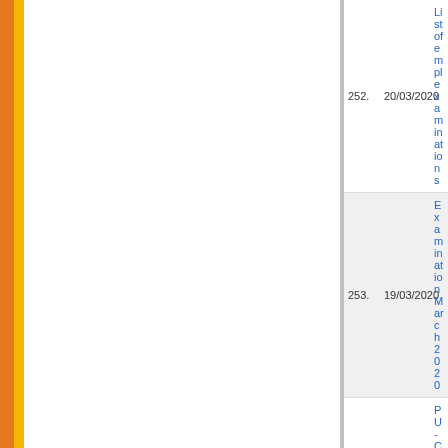| No. | Date | Description |
| --- | --- | --- |
| 252. | 20/03/2020 | List of empl... examinations... |
| 253. | 19/03/2020 | Examination... March 2020 |
| 254. | 11/03/2020 | PU-CET (U.G... |
| 255. | 05/02/2020 | Grant of Gol... Courses Ann... UnderGradu... Admission s... |
| 256. | 31/01/2020 | Quotation fo... Scanner MO... |
| 257. | 17/12/2019 | Revised noti... dated 18.12.... |
| 258. | 17/12/2019 | POSTPONE... 18.12.2019 |
| 259. | 04/12/2019 | M.A. (Hindi)... |
| 260. | 03/12/2019 | Schedule of... |
| 261. | 21/11/2019 | Invitation for... the session 2... |
| 262. | 20/11/2019 | Proforma for... Semester Ex... |